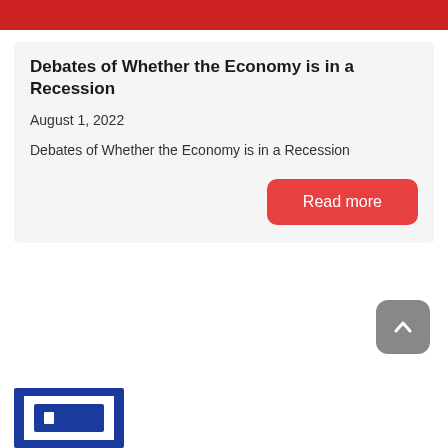Debates of Whether the Economy is in a Recession
August 1, 2022
Debates of Whether the Economy is in a Recession
Read more
[Figure (logo): Blue square logo at bottom left]
[Figure (other): Grey rounded square scroll-to-top button with upward arrow icon]